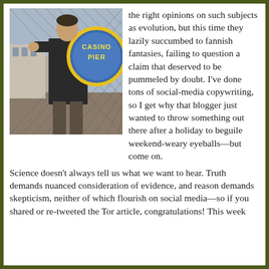[Figure (photo): A person holding a large round Casino Pier sign, standing in front of a chain-link fence outdoors.]
the right opinions on such subjects as evolution, but this time they lazily succumbed to fannish fantasies, failing to question a claim that deserved to be pummeled by doubt. I've done tons of social-media copywriting, so I get why that blogger just wanted to throw something out there after a holiday to beguile weekend-weary eyeballs—but come on.
Science doesn't always tell us what we want to hear. Truth demands nuanced consideration of evidence, and reason demands skepticism, neither of which flourish on social media—so if you shared or re-tweeted the Tor article, congratulations! This week